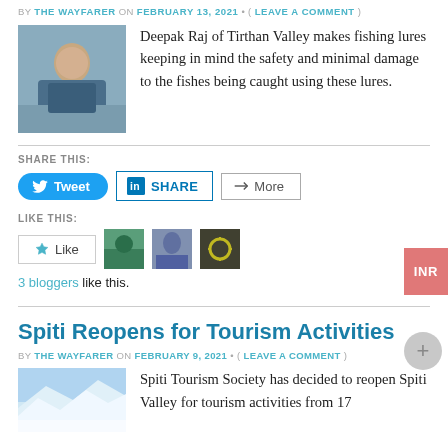BY THE WAYFARER ON FEBRUARY 13, 2021 • ( LEAVE A COMMENT )
[Figure (photo): Person making fishing lures, Tirthan Valley]
Deepak Raj of Tirthan Valley makes fishing lures keeping in mind the safety and minimal damage to the fishes being caught using these lures.
SHARE THIS:
Tweet  SHARE  More
LIKE THIS:
Like  [3 blogger avatars]  3 bloggers like this.
Spiti Reopens for Tourism Activities
BY THE WAYFARER ON FEBRUARY 9, 2021 • ( LEAVE A COMMENT )
[Figure (photo): Spiti Valley mountain landscape photo]
Spiti Tourism Society has decided to reopen Spiti Valley for tourism activities from 17